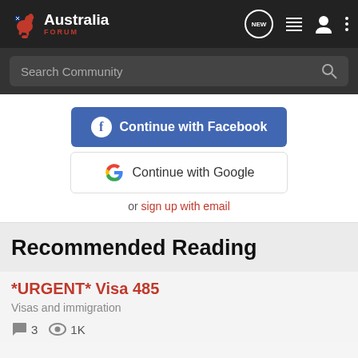[Figure (logo): Australia Forum logo with kangaroo icon, white text 'Australia' and red 'FORUM' text]
[Figure (screenshot): Navigation bar icons: NEW speech bubble, list icon, user icon, vertical dots menu]
Search Community
[Figure (other): Continue with Facebook button (blue)]
[Figure (other): Continue with Google button (white with Google G icon)]
or sign up with email
Recommended Reading
*URGENT* Visa 485
Visas and immigration
3   1K